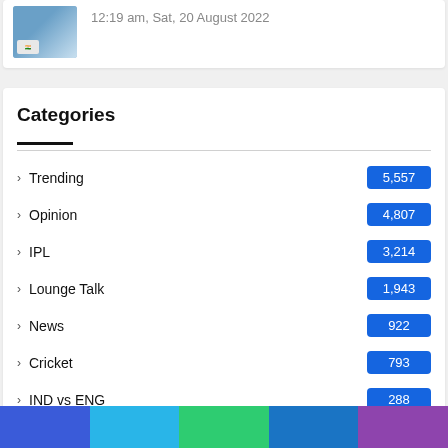12:19 am, Sat, 20 August 2022
Categories
Trending  5,557
Opinion  4,807
IPL  3,214
Lounge Talk  1,943
News  922
Cricket  793
IND vs ENG  288
Fantasy Cricket Tips  247